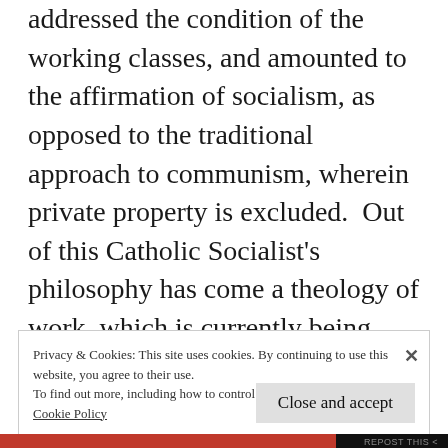addressed the condition of the working classes, and amounted to the affirmation of socialism, as opposed to the traditional approach to communism, wherein private property is excluded.  Out of this Catholic Socialist's philosophy has come a theology of work, which is currently being taught to Roman Catholics in the West. For more information on Rerum Novarum, click on the link entitled “Rerum Novarum – Catholic Social Teaching”.
Privacy & Cookies: This site uses cookies. By continuing to use this website, you agree to their use.
To find out more, including how to control cookies, see here:
Cookie Policy